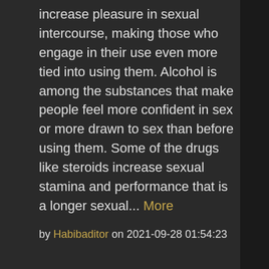increase pleasure in sexual intercourse, making those who engage in their use even more tied into using them. Alcohol is among the substances that make people feel more confident in sex or more drawn to sex than before using them. Some of the drugs like steroids increase sexual stamina and performance that is a longer sexual... More
by Habibaditor on 2021-09-28 01:54:23